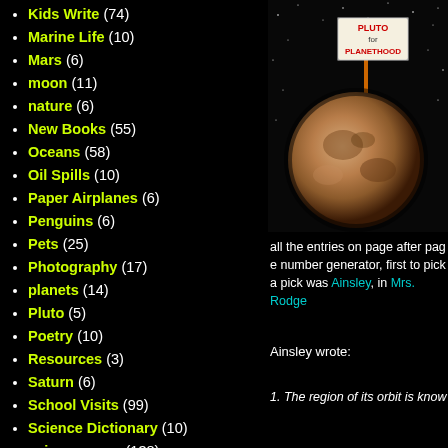Kids Write (74)
Marine Life (10)
Mars (6)
moon (11)
nature (6)
New Books (55)
Oceans (58)
Oil Spills (10)
Paper Airplanes (6)
Penguins (6)
Pets (25)
Photography (17)
planets (14)
Pluto (5)
Poetry (10)
Resources (3)
Saturn (6)
School Visits (99)
Science Dictionary (10)
science news (138)
Science Projects (6)
Seasons (6)
[Figure (photo): Pluto planet image with a sign reading PLUTO for PLANETHOOD on a black starry background]
all the entries on page after page number generator, first to pick a pick was Ainsley, in Mrs. Rodge
Ainsley wrote:
1. The region of its orbit is know